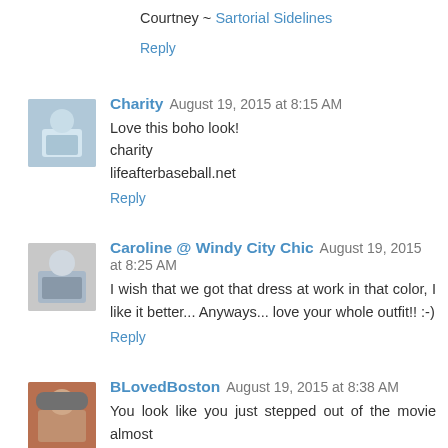Courtney ~ Sartorial Sidelines
Reply
[Figure (photo): Avatar photo of Charity]
Charity  August 19, 2015 at 8:15 AM
Love this boho look!
charity
lifeafterbaseball.net
Reply
[Figure (photo): Avatar photo of Caroline]
Caroline @ Windy City Chic  August 19, 2015 at 8:25 AM
I wish that we got that dress at work in that color, I like it better... Anyways... love your whole outfit!! :-)
Reply
[Figure (photo): Avatar photo of BLovedBoston]
BLovedBoston  August 19, 2015 at 8:38 AM
You look like you just stepped out of the movie almost